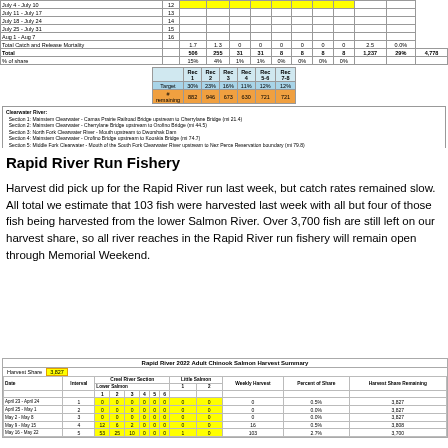|  | week | None | None | None | None | None | None | None | Total | %of share |
| --- | --- | --- | --- | --- | --- | --- | --- | --- | --- | --- |
| July 4 - July 10 | 12 |  |  |  |  |  |  |  |  |  |
| July 11 - July 17 | 13 |  |  |  |  |  |  |  |  |  |
| July 18 - July 24 | 14 |  |  |  |  |  |  |  |  |  |
| July 25 - July 31 | 15 |  |  |  |  |  |  |  |  |  |
| Aug 1 - Aug 7 | 16 |  |  |  |  |  |  |  |  |  |
| Total Catch and Release Mortality |  | 1.7 | 1.3 | 0 | 0 | 0 | 0 | 0 | 0 | 2.5 | 0.0% |
| Total |  | 506 | 255 | 31 | 31 | 8 | 8 | 8 | 8 | 1,237 | 29% | 4,778 |
| % of share |  | 15% | 4% | 1% | 1% | 0% | 0% | 0% | 0% |  |  |
|  | Rec 1 | Rec 2 | Rec 3 | Rec 4 | Rec 5-6 | Rec 7-8 |
| --- | --- | --- | --- | --- | --- | --- |
| Target | 30% | 23% | 16% | 11% | 12% | 12% |
| # remaining | 882 | 946 | 673 | 630 | 721 | 721 |
Clearwater River: Section 1: Mainstem Clearwater - Camas Prairie Railroad Bridge upstream to Cherrylane Bridge (mi 21.4) Section 2: Mainstem Clearwater - Cherrylane Bridge upstream to Orofino Bridge (mi 44.5) Section 3: North Fork Clearwater River - Mouth upstream to Dworshak Dam Section 4: Mainstem Clearwater - Orofino Bridge upstream to Kooskia Bridge (mi 74.7) Section 5: Middle Fork Clearwater - Mouth of the South Fork Clearwater River upstream to Nez Perce Reservation boundary (mi 79.8) Section 6: Middle Fork Clearwater - Nez Perce Reservation boundary upstream to Selway/Lochsa confluence (mi 97.6) Section 7: South Fork Clearwater - Mouth upstream to Hungry Ridge Road Bridge (mi 33) Section 8: South Fork Clearwater - Hungry Ridge Road Bridge upstream to confluence of American and Red Rivers (mi 62.5)
Rapid River Run Fishery
Harvest did pick up for the Rapid River run last week, but catch rates remained slow. All total we estimate that 103 fish were harvested last week with all but four of those fish being harvested from the lower Salmon River. Over 3,700 fish are still left on our harvest share, so all river reaches in the Rapid River run fishery will remain open through Memorial Weekend.
| Rapid River 2022 Adult Chinook Salmon Harvest Summary | Harvest Share | 3,827 |
| --- | --- | --- |
| Date | Interval | 1 | 2 | 3 | 4 | 5 | 6 | 1 | 2 | Weekly Harvest | Percent of Share | Harvest Share Remaining |
| April 23 - April 24 | 1 | 0 | 0 | 0 | 0 | 0 | 0 | 0 | 0 | 0 | 0.5% | 3,827 |
| April 25 - May 1 | 2 | 0 | 0 | 0 | 0 | 0 | 0 | 0 | 0 | 0 | 0.0% | 3,827 |
| May 2 - May 8 | 3 | 0 | 0 | 0 | 0 | 0 | 0 | 0 | 0 | 0 | 0.0% | 3,827 |
| May 9 - May 15 | 4 | 12 | 6 | 2 | 0 | 0 | 0 | 0 | 0 | 16 | 0.5% | 3,808 |
| May 16 - May 22 | 5 | 53 | 25 | 10 | 0 | 0 | 0 | 1 | 0 | 103 | 2.7% | 3,700 |